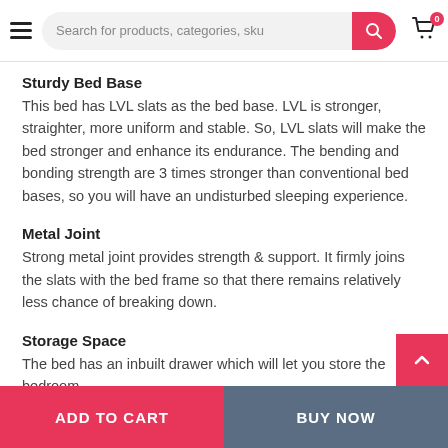Search for products, categories, sku
Sturdy Bed Base
This bed has LVL slats as the bed base. LVL is stronger, straighter, more uniform and stable. So, LVL slats will make the bed stronger and enhance its endurance. The bending and bonding strength are 3 times stronger than conventional bed bases, so you will have an undisturbed sleeping experience.
Metal Joint
Strong metal joint provides strength & support. It firmly joins the slats with the bed frame so that there remains relatively less chance of breaking down.
Storage Space
The bed has an inbuilt drawer which will let you store the bedroom
ADD TO CART   BUY NOW